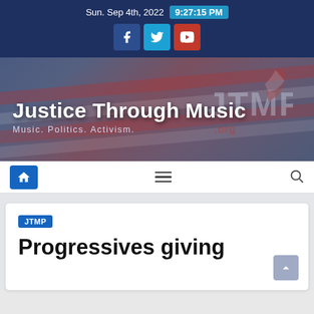Sun. Sep 4th, 2022  9:27:15 PM
[Figure (screenshot): Justice Through Music (JTMP) website header banner with logo, tagline 'Music. Politics. Activism.' and navigation bar]
JTMP
Progressives giving